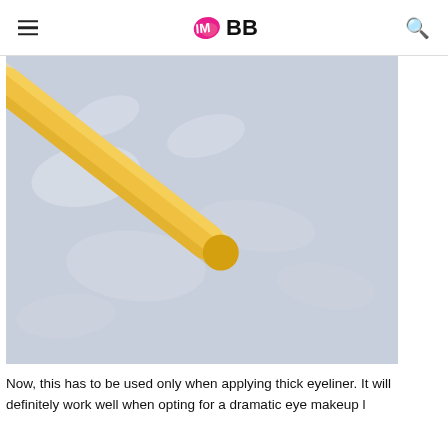IMBB
[Figure (photo): Close-up photo of a yellow eyeliner pencil or cosmetic pencil lying diagonally on a light blue/grey textured background. The pencil extends from the upper right to the lower center of the image.]
Now, this has to be used only when applying thick eyeliner. It will definitely work well when opting for a dramatic eye makeup look